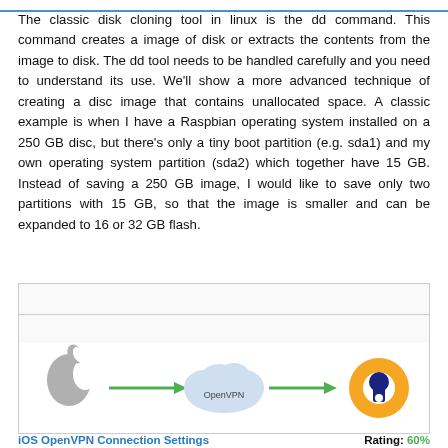The classic disk cloning tool in linux is the dd command. This command creates a image of disk or extracts the contents from the image to disk. The dd tool needs to be handled carefully and you need to understand its use. We'll show a more advanced technique of creating a disc image that contains unallocated space. A classic example is when I have a Raspbian operating system installed on a 250 GB disc, but there's only a tiny boot partition (e.g. sda1) and my own operating system partition (sda2) which together have 15 GB. Instead of saving a 250 GB image, I would like to save only two partitions with 15 GB, so that the image is smaller and can be expanded to 16 or 32 GB flash.
[Figure (illustration): Advertisement placeholder with two rows separated by a horizontal line]
[Figure (illustration): Diagram showing Apple logo on left, green arrow pointing right through an OpenVPN cloud shape, then another green arrow pointing to the OpenVPN orange/blue logo on the right]
iOS OpenVPN Connection Settings     Rating: 60%